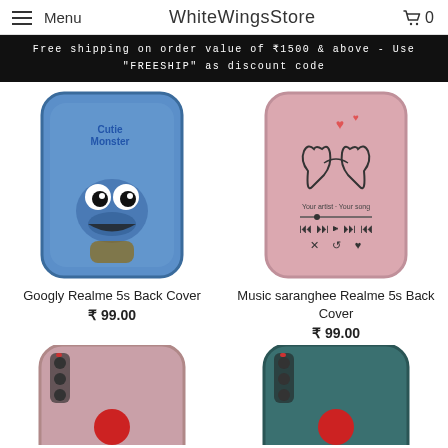Menu | WhiteWingsStore | Cart 0
Free shipping on order value of ₹1500 & above - Use "FREESHIP" as discount code
[Figure (photo): Blue phone case with Googly Cookie Monster design]
Googly Realme 5s Back Cover
₹ 99.00
[Figure (photo): Pink phone case with Music saranghee (finger heart) design]
Music saranghee Realme 5s Back Cover
₹ 99.00
[Figure (photo): Light pink phone case with red dot design]
[Figure (photo): Teal phone case with red dot design]